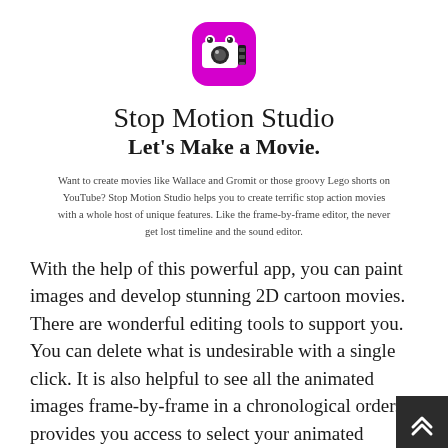[Figure (logo): Stop Motion Studio app icon — pink/magenta rounded square with a cartoon camera character with eyes]
Stop Motion Studio
Let's Make a Movie.
Want to create movies like Wallace and Gromit or those groovy Lego shorts on YouTube? Stop Motion Studio helps you to create terrific stop action movies with a whole host of unique features. Like the frame-by-frame editor, the never get lost timeline and the sound editor.
With the help of this powerful app, you can paint images and develop stunning 2D cartoon movies. There are wonderful editing tools to support you. You can delete what is undesirable with a single click. It is also helpful to see all the animated images frame-by-frame in a chronological order. It provides you access to select your animated specific portion of your movie and use it as a playback. To enhance the impact of your developed animations, Stop Motion Studio provides you several music clips and